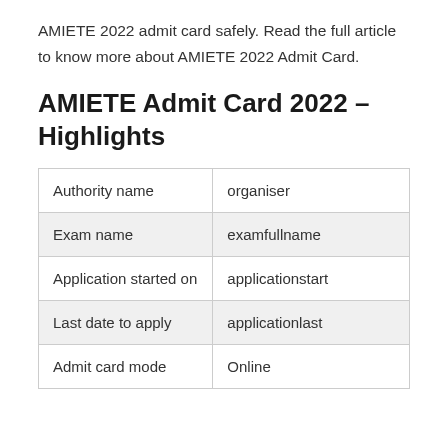AMIETE 2022 admit card safely. Read the full article to know more about AMIETE 2022 Admit Card.
AMIETE Admit Card 2022 – Highlights
| Authority name | organiser |
| Exam name | examfullname |
| Application started on | applicationstart |
| Last date to apply | applicationlast |
| Admit card mode | Online |